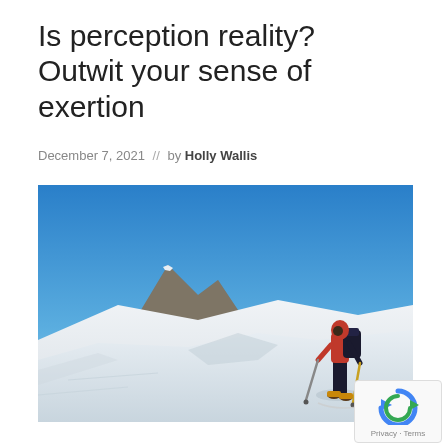Is perception reality? Outwit your sense of exertion
December 7, 2021  //  by Holly Wallis
[Figure (photo): A mountain climber with a red jacket and large backpack stands on a snow-covered ridge with trekking poles, with a clear blue sky and snowy peaks in the background.]
[Figure (logo): reCAPTCHA logo with Privacy and Terms links]